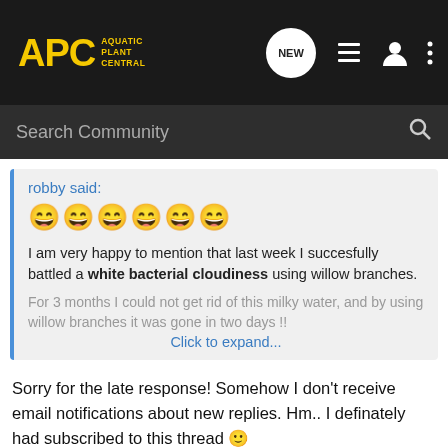[Figure (screenshot): APC Aquatic Plant Central navigation bar with logo and icons]
Search Community
robby said:
😄😄😄😄😄😄
I am very happy to mention that last week I succesfully battled a white bacterial cloudiness using willow branches.
For 3 months I could not get rid of this milky water, and by using willow branches it was gone in two days !!
Click to expand...
Sorry for the late response! Somehow I don't receive email notifications about new replies. Hm.. I definately had subscribed to this thread 🙂
Anyway, I really glad to hear that it helped you to get rid of white cloudiness! Congrats!